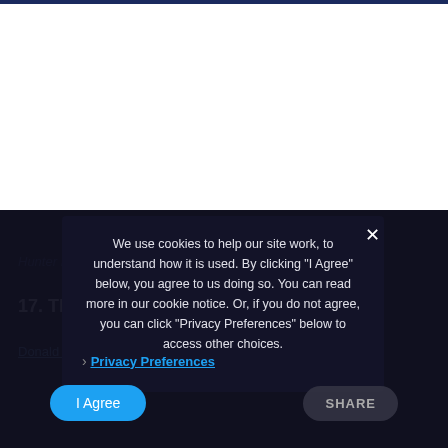[Figure (screenshot): Website page with navy top bar and white content area]
Hunter Martin/Getty Images
17. The new era of dominance
Donald Miralle /
We use cookies to help our site work, to understand how it is used. By clicking "I Agree" below, you agree to us doing so. You can read more in our cookie notice. Or, if you do not agree, you can click "Privacy Preferences" below to access other choices.
Privacy Preferences
I Agree
SHARE